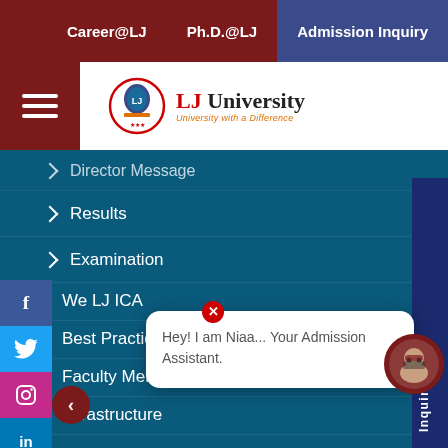Career@LJ  Ph.D.@LJ  Admission Inquiry
[Figure (logo): LJ University logo with shield emblem and tagline 'University with a Difference']
Director Message
Results
Examination
We LJ ICA
Best Practices
Faculty Members
Infrastructure
Awards And Achievements
Activities And
Admissions
Video Sessions
Hey! I am Niaa... Your Admission Assistant.